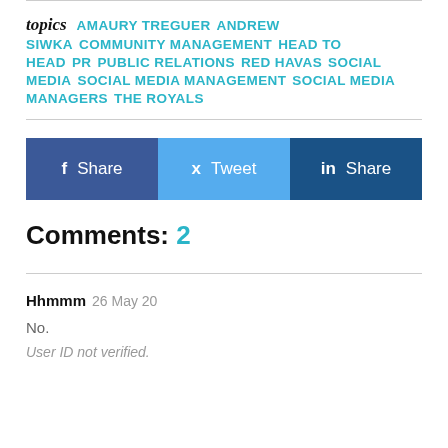topics  AMAURY TREGUER  ANDREW SIWKA  COMMUNITY MANAGEMENT  HEAD TO HEAD  PR  PUBLIC RELATIONS  RED HAVAS  SOCIAL MEDIA  SOCIAL MEDIA MANAGEMENT  SOCIAL MEDIA MANAGERS  THE ROYALS
[Figure (infographic): Social share buttons row: Facebook Share, Twitter Tweet, LinkedIn Share]
Comments: 2
Hhmmm  26 May 20
No.
User ID not verified.